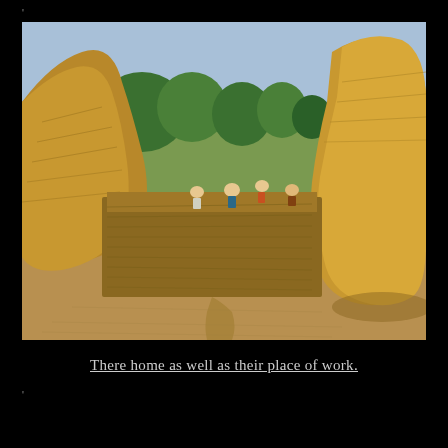[Figure (photo): Outdoor photograph showing large haystacks or straw mounds in a rural agricultural setting. Workers can be seen between the mounds. Green trees and fields are visible in the background under a clear blue sky. The foreground shows a dirt/clay ground.]
There home as well as their place of work.